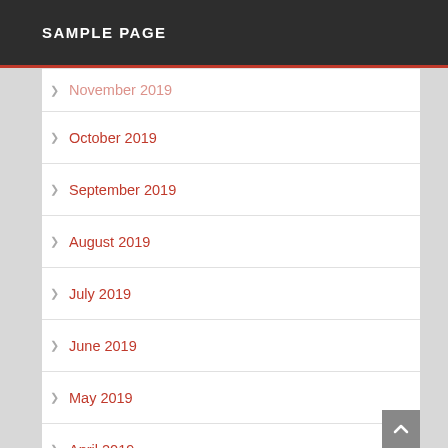SAMPLE PAGE
November 2019
October 2019
September 2019
August 2019
July 2019
June 2019
May 2019
April 2019
March 2019
February 2019
January 2019
December 2018
November 2018